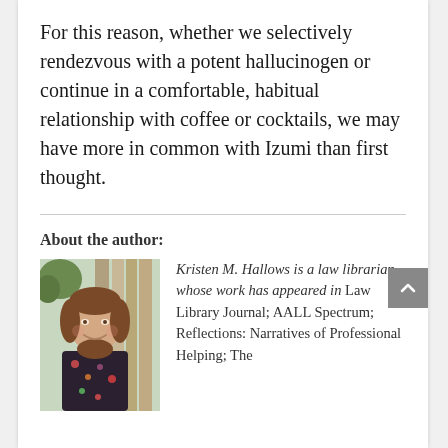For this reason, whether we selectively rendezvous with a potent hallucinogen or continue in a comfortable, habitual relationship with coffee or cocktails, we may have more in common with Izumi than first thought.
About the author:
[Figure (photo): Headshot photo of Kristen M. Hallows, a woman with long brown hair, smiling, wearing a dark floral top, standing outdoors near a wooden fence.]
Kristen M. Hallows is a law librarian whose work has appeared in Law Library Journal; AALL Spectrum; Reflections: Narratives of Professional Helping; The